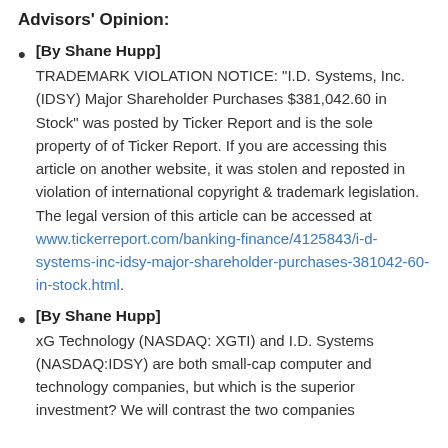Advisors' Opinion:
[By Shane Hupp]
TRADEMARK VIOLATION NOTICE: “I.D. Systems, Inc. (IDSY) Major Shareholder Purchases $381,042.60 in Stock” was posted by Ticker Report and is the sole property of of Ticker Report. If you are accessing this article on another website, it was stolen and reposted in violation of international copyright & trademark legislation. The legal version of this article can be accessed at www.tickerreport.com/banking-finance/4125843/i-d-systems-inc-idsy-major-shareholder-purchases-381042-60-in-stock.html.
[By Shane Hupp]
xG Technology (NASDAQ: XGTI) and I.D. Systems (NASDAQ:IDSY) are both small-cap computer and technology companies, but which is the superior investment? We will contrast the two companies